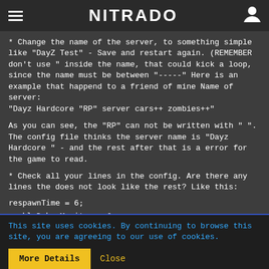NITRADO
* Change the name of the server, to something simple like "DayZ Test" - Save and restart again. (REMEMBER don't use " inside the name, that could kick a loop, since the name must be between "-----" Here is an example that happend to a friend of mine Name of server: "Dayz Hardcore "RP" server cars++ zombies++"
As you can see, the "RP" can not be written with " ". The config file thinks the server name is "Dayz Hardcore " - and the rest after that is a error for the game to read.
* Check all your lines in the config. Are there any lines the does not look like the rest? Like this:
respawnTime = 6;
enableDebugMonitor = 0;
This site uses cookies. By continuing to browse this site, you are agreeing to our use of cookies.